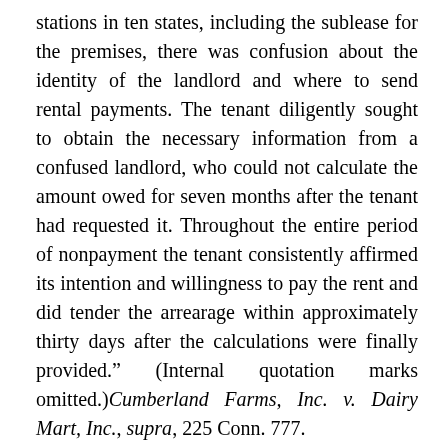stations in ten states, including the sublease for the premises, there was confusion about the identity of the landlord and where to send rental payments. The tenant diligently sought to obtain the necessary information from a confused landlord, who could not calculate the amount owed for seven months after the tenant had requested it. Throughout the entire period of nonpayment the tenant consistently affirmed its intention and willingness to pay the rent and did tender the arrearage within approximately thirty days after the calculations were finally provided.” (Internal quotation marks omitted.)Cumberland Farms, Inc. v. Dairy Mart, Inc., supra, 225 Conn. 777.